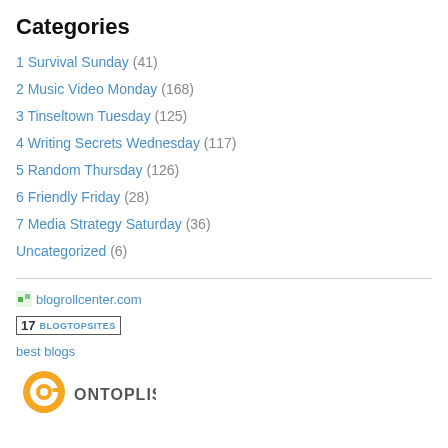Categories
1 Survival Sunday (41)
2 Music Video Monday (168)
3 Tinseltown Tuesday (125)
4 Writing Secrets Wednesday (117)
5 Random Thursday (126)
6 Friendly Friday (28)
7 Media Strategy Saturday (36)
Uncategorized (6)
[Figure (logo): blogrollcenter.com logo/link with small green icon]
[Figure (logo): Blog Top Sites badge showing rank 17 and BLOGTOPSITES text]
best blogs
[Figure (logo): OnTopList.com logo with orange @ symbol]